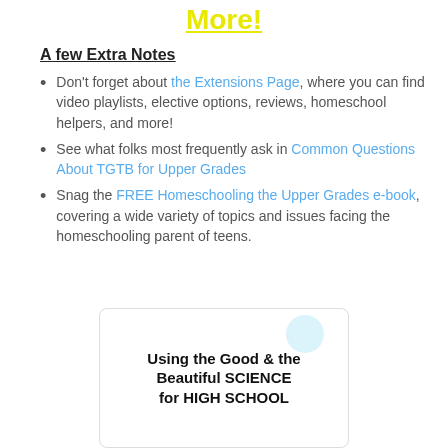More!
A few Extra Notes
Don't forget about the Extensions Page, where you can find video playlists, elective options, reviews, homeschool helpers, and more!
See what folks most frequently ask in Common Questions About TGTB for Upper Grades
Snag the FREE Homeschooling the Upper Grades e-book, covering a wide variety of topics and issues facing the homeschooling parent of teens.
[Figure (illustration): Book cover image with text: Using the Good & the Beautiful SCIENCE for HIGH SCHOOL]